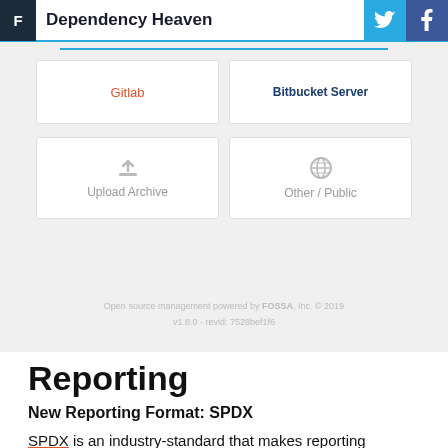F  Dependency Heaven
[Figure (screenshot): A screenshot of a web application showing a grid of import option buttons: Gitlab (orange), Bitbucket Server (dark blue), Upload Archive (with upload icon), and Other / Public (with globe icon). At the bottom a footer reads: Open source management powered by FOSSA, Inc. © 2019, v1.8.0 - revid: 7528bef1f6]
Reporting
New Reporting Format: SPDX
SPDX is an industry-standard that makes reporting